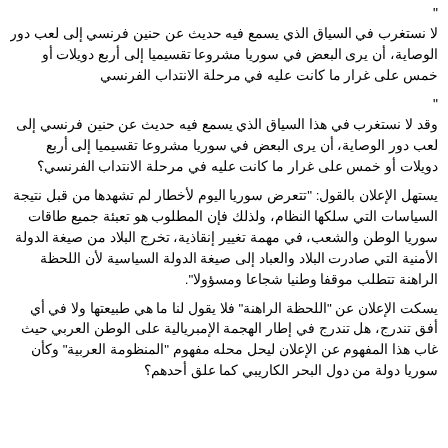"
لا نستغرب في السياق الذي يسمع فيه حديث عن حنين فرنسي إلى لعب دور الوصاية، أن يرى البعض في سوريا مشروعا تقسيميا إلى أربع دويلات أو خمس على غرار ما كانت عليه في مرحلة الانتداب الفرنسي
"
وقد لا نستغرب في هذا السياق الذي يسمع فيه حديث عن حنين فرنسي إلى لعب دور الوصاية، أن يرى البعض في سوريا مشروعا تقسيميا إلى أربع دويلات أو خمس على غرار ما كانت عليه في مرحلة الانتداب الفرنسي؟
يستهل الإعلان بالقول: "تتعرض سوريا اليوم لأخطار لم تشهدها من قبل نتيجة السياسات التي سلكها النظام، ولذلك فإن المطلوب هو تعبئة جميع طاقات سوريا الوطن والشعب، في مهمة تغيير إنقاذية، تخرج البلاد من صيغة الدولة الأمنية التي صادرت البلاد والعباد إلى صيغة الدولة السياسية لأن اللحظة الراهنة تتطلب موقفا وطنيا شجاعا ومسؤولا".
يسكت الإعلان عن "اللحظة الراهنة" فلا يقول لنا ما هي طبيعتها ولا في أي أفق تندرج، هل تندرج في إطار الهجمة الإمبريالية على الوطن العربي حيث غاب هذا المفهوم عن الإعلان ليحل محله مفهوم "المنظومة العربية" وكأن سوريا دولة من دول البحر الكاريبي كما علق أحدهم؟